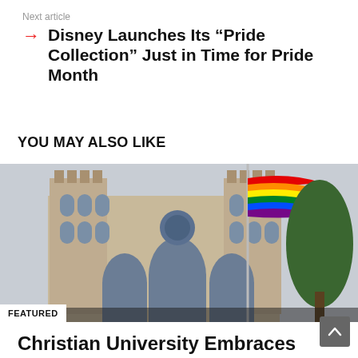Next article
Disney Launches Its “Pride Collection” Just in Time for Pride Month
YOU MAY ALSO LIKE
[Figure (photo): A Gothic cathedral (likely Washington National Cathedral) with a rainbow Pride flag flying in front of it on a flagpole. Green tree visible on the right. Overcast sky.]
FEATURED
Christian University Embraces